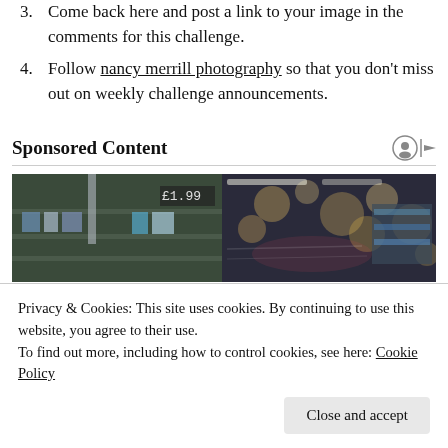3. Come back here and post a link to your image in the comments for this challenge.
4. Follow nancy merrill photography so that you don't miss out on weekly challenge announcements.
Sponsored Content
[Figure (photo): A blurred/bokeh photo of a store or market, showing shelves and lights.]
Privacy & Cookies: This site uses cookies. By continuing to use this website, you agree to their use. To find out more, including how to control cookies, see here: Cookie Policy
Close and accept